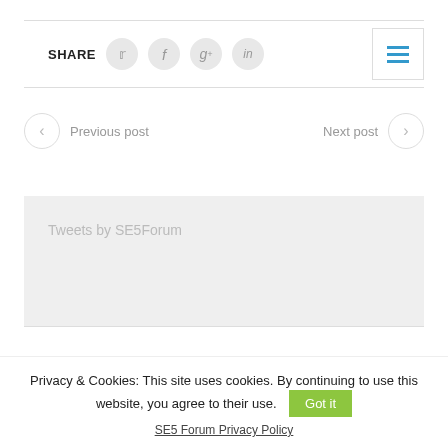SHARE
[Figure (other): Social share icons for Twitter, Facebook, Google+, LinkedIn, and a hamburger menu button]
Previous post
Next post
Tweets by SE5Forum
Privacy & Cookies: This site uses cookies. By continuing to use this website, you agree to their use.
Got it
SE5 Forum Privacy Policy